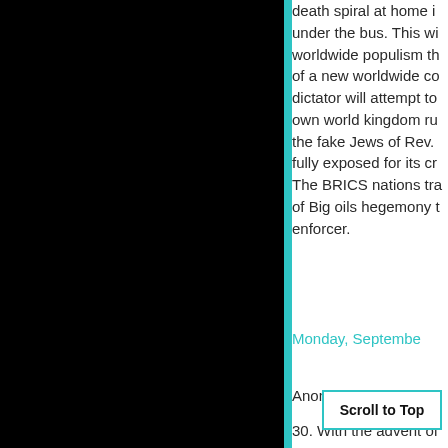[Figure (other): Black panel occupying left portion of page]
death spiral at home i... under the bus. This wi... worldwide populism th... of a new worldwide co... dictator will attempt to... own world kingdom ru... the fake Jews of Rev.... fully exposed for its cr... The BRICS nations tra... of Big oils hegemony t... enforcer.
Monday, Septembe...
Anonymous said...
30. With the advent of... comm... ee... well as some fairly rig...
Scroll to Top